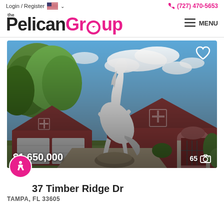Login / Register  (727) 470-5653
[Figure (logo): The Pelican Group real estate logo — 'the' small above 'PelicanGroup' in large bold text, 'Pelican' in dark gray and 'Group' in hot pink with a stylized arrow/bird in the 'o']
[Figure (photo): Exterior photo of a red Spanish-style home with white garage doors, a large white rearing horse statue in the foreground, blue sky with clouds behind. Price overlay shows $1,650,000 and photo count 65.]
$1,650,000
65
37 Timber Ridge Dr
TAMPA, FL 33605